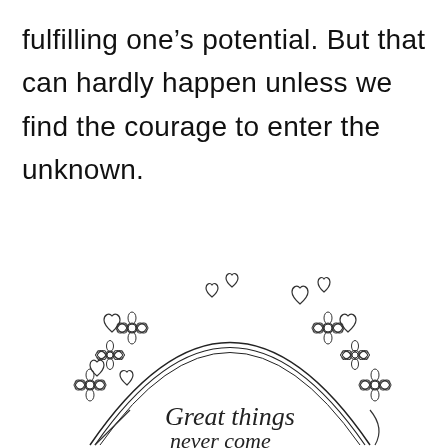fulfilling one’s potential. But that can hardly happen unless we find the courage to enter the unknown.
[Figure (illustration): A decorative wreath made of daisy flowers, small hearts, and curved lines forming an arch/circle shape. Inside the wreath, handwritten-style text reads 'Great things' with more text below that is partially cut off at the bottom of the page.]